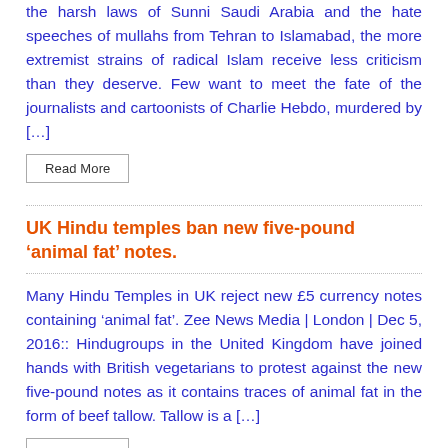the harsh laws of Sunni Saudi Arabia and the hate speeches of mullahs from Tehran to Islamabad, the more extremist strains of radical Islam receive less criticism than they deserve. Few want to meet the fate of the journalists and cartoonists of Charlie Hebdo, murdered by […]
Read More
UK Hindu temples ban new five-pound 'animal fat' notes.
Many Hindu Temples in UK reject new £5 currency notes containing 'animal fat'. Zee News Media | London | Dec 5, 2016:: Hindugroups in the United Kingdom have joined hands with British vegetarians to protest against the new five-pound notes as it contains traces of animal fat in the form of beef tallow. Tallow is a […]
Read More